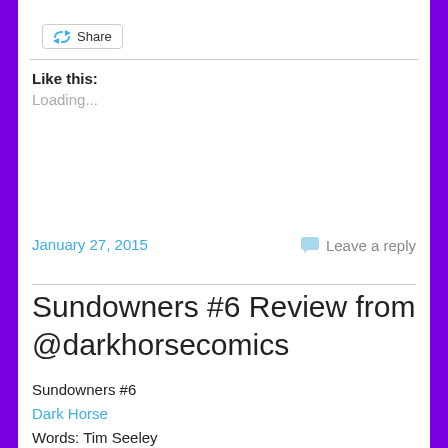Share
Like this:
Loading...
January 27, 2015
Leave a reply
Sundowners #6 Review from @darkhorsecomics
Sundowners #6
Dark Horse
Words: Tim Seeley
Pictures: Jim Terry